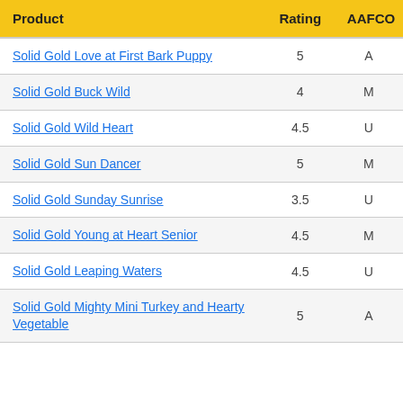| Product | Rating | AAFCO |
| --- | --- | --- |
| Solid Gold Love at First Bark Puppy | 5 | A |
| Solid Gold Buck Wild | 4 | M |
| Solid Gold Wild Heart | 4.5 | U |
| Solid Gold Sun Dancer | 5 | M |
| Solid Gold Sunday Sunrise | 3.5 | U |
| Solid Gold Young at Heart Senior | 4.5 | M |
| Solid Gold Leaping Waters | 4.5 | U |
| Solid Gold Mighty Mini Turkey and Hearty Vegetable | 5 | A |